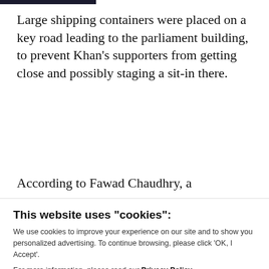Large shipping containers were placed on a key road leading to the parliament building, to prevent Khan's supporters from getting close and possibly staging a sit-in there.
According to Fawad Chaudhry, a
This website uses "cookies":
We use cookies to improve your experience on our site and to show you personalized advertising. To continue browsing, please click 'OK, I Accept'.
For more information, please read our Privacy Policy
Ok, I Accept